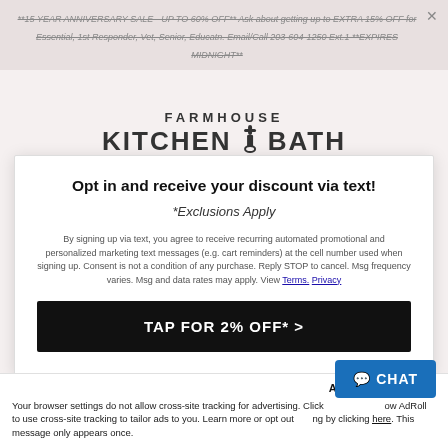**15 YEAR ANNIVERSARY SALE - UP TO 60% OFF** Ask about getting up to EXTRA 15% OFF for Essential, 1st Responder, Vet, Senior, Educatn. Email/Call 203-604-1250 Ext.1 **EXPIRES MIDNIGHT**
[Figure (logo): Farmhouse Kitchen & Bath logo with faucet icon between KITCHEN and BATH text]
Opt in and receive your discount via text!
*Exclusions Apply
By signing up via text, you agree to receive recurring automated promotional and personalized marketing text messages (e.g. cart reminders) at the cell number used when signing up. Consent is not a condition of any purchase. Reply STOP to cancel. Msg frequency varies. Msg and data rates may apply. View Terms. Privacy
TAP FOR 2% OFF* >
Accept and Close ✕
Your browser settings do not allow cross-site tracking for advertising. Click [Allow] to allow AdRoll to use cross-site tracking to tailor ads to you. Learn more or opt out of tracking by clicking here. This message only appears once.